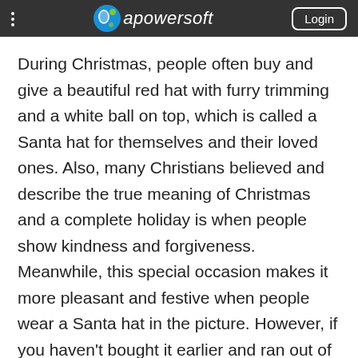apowersoft
During Christmas, people often buy and give a beautiful red hat with furry trimming and a white ball on top, which is called a Santa hat for themselves and their loved ones. Also, many Christians believed and describe the true meaning of Christmas and a complete holiday is when people show kindness and forgiveness. Meanwhile, this special occasion makes it more pleasant and festive when people wear a Santa hat in the picture. However, if you haven't bought it earlier and ran out of time, you would ask yourself if you can possibly add Santa hats to photos.